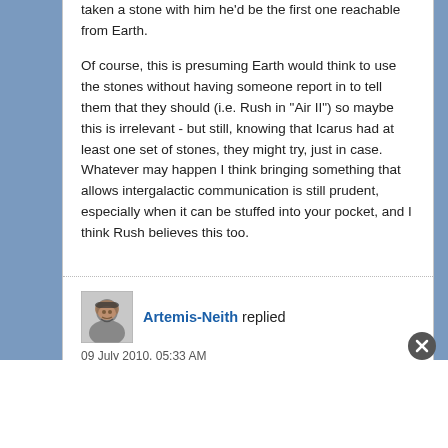taken a stone with him he'd be the first one reachable from Earth.
Of course, this is presuming Earth would think to use the stones without having someone report in to tell them that they should (i.e. Rush in "Air II") so maybe this is irrelevant - but still, knowing that Icarus had at least one set of stones, they might try, just in case. Whatever may happen I think bringing something that allows intergalactic communication is still prudent, especially when it can be stuffed into your pocket, and I think Rush believes this too.
Artemis-Neith replied
09 July 2010, 05:33 AM
Originally posted by jelgate » That could be true but it still doesn't answer RC15's point about the blues having a stone.